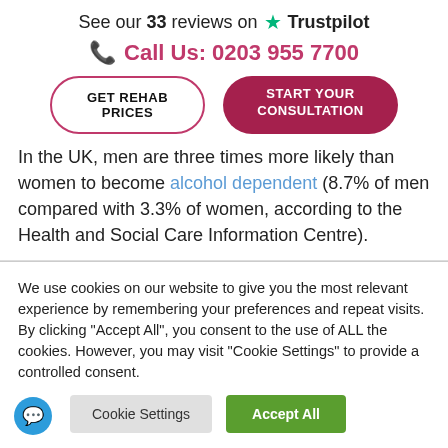See our 33 reviews on ★ Trustpilot
Call Us: 0203 955 7700
GET REHAB PRICES
START YOUR CONSULTATION
In the UK, men are three times more likely than women to become alcohol dependent (8.7% of men compared with 3.3% of women, according to the Health and Social Care Information Centre).
We use cookies on our website to give you the most relevant experience by remembering your preferences and repeat visits. By clicking "Accept All", you consent to the use of ALL the cookies. However, you may visit "Cookie Settings" to provide a controlled consent.
Cookie Settings
Accept All